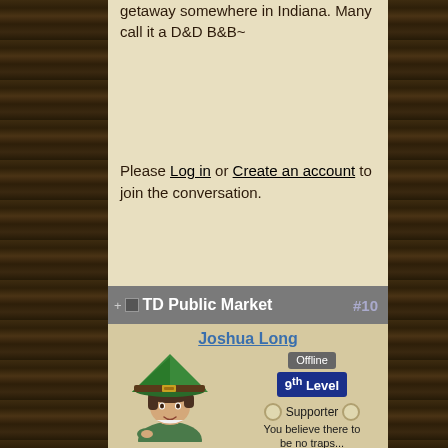getaway somewhere in Indiana. Many call it a D&D B&B~
Please Log in or Create an account to join the conversation.
TD Public Market #10
Joshua Long
[Figure (illustration): Anime-style character wearing a large green witch hat with a brown band and gold buckle, dark hair, smiling, wearing a green hoodie]
Offline
9th Level
Supporter
You believe there to be no traps...
Posts: 513